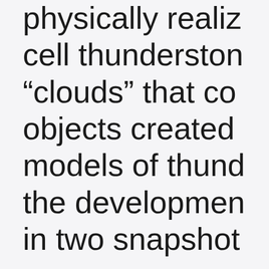physically realiz… cell thunderston… “clouds” that co… objects created… models of thund… the developmen… in two snapshot… apart.